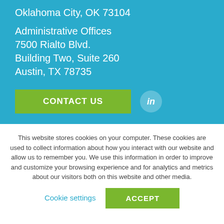Oklahoma City, OK 73104
Administrative Offices
7500 Rialto Blvd.
Building Two, Suite 260
Austin, TX 78735
CONTACT US
in
This website stores cookies on your computer. These cookies are used to collect information about how you interact with our website and allow us to remember you. We use this information in order to improve and customize your browsing experience and for analytics and metrics about our visitors both on this website and other media.
Cookie settings
ACCEPT